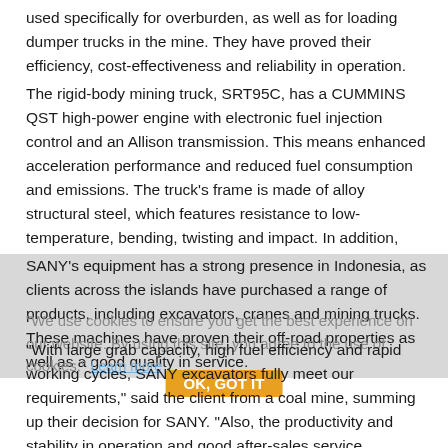used specifically for overburden, as well as for loading dumper trucks in the mine. They have proved their efficiency, cost-effectiveness and reliability in operation.
The rigid-body mining truck, SRT95C, has a CUMMINS QST high-power engine with electronic fuel injection control and an Allison transmission. This means enhanced acceleration performance and reduced fuel consumption and emissions. The truck's frame is made of alloy structural steel, which features resistance to low-temperature, bending, twisting and impact. In addition, McPherson front strut suspension adopted on the front axle and steering mechanism smooth the ride.
SANY's equipment has a strong presence in Indonesia, as clients across the islands have purchased a range of products, including excavators, cranes and mining trucks. These machines have proven their off-road properties as well as a good quality in service.
“With large grab capacity, high fuel efficiency and rapid working cycles, SANY excavators fully meet our requirements,” said the client from a coal mine, summing up their decision for SANY. “Also, the productivity and stability in operation and good after-sales service, especially the spare-part support, make SANY rigid mining trucks impressive.”